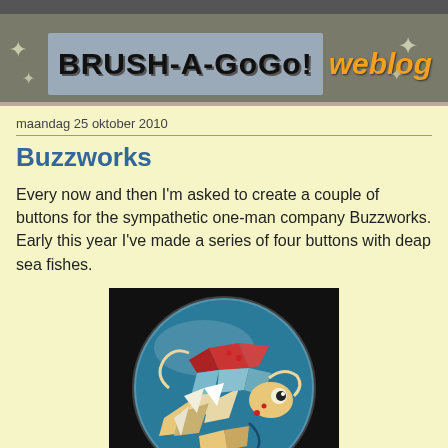BRUSH-A-GOGO! weblog
maandag 25 oktober 2010
Buzzworks
Every now and then I'm asked to create a couple of buttons for the sympathetic one-man company Buzzworks. Early this year I've made a series of four buttons with deap sea fishes.
[Figure (illustration): A circular button/badge with a teal blue background featuring stylized decorative fish design in an indigenous/tribal art style, using colors of cream/tan, red, and light blue geometric shapes.]